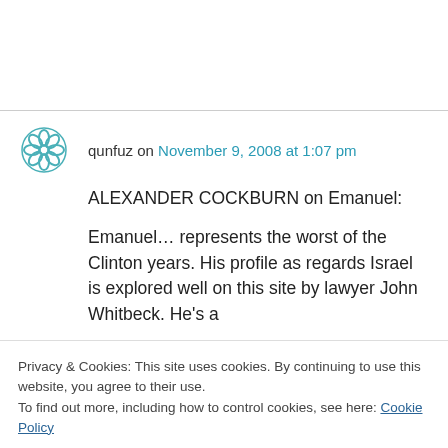qunfuz on November 9, 2008 at 1:07 pm
ALEXANDER COCKBURN on Emanuel:

Emanuel… represents the worst of the Clinton years. His profile as regards Israel is explored well on this site by lawyer John Whitbeck. He's a former Israeli citizen who volunteered to serve…
Privacy & Cookies: This site uses cookies. By continuing to use this website, you agree to their use.
To find out more, including how to control cookies, see here: Cookie Policy
Palestinians. Dad's unreconstructed ethnic